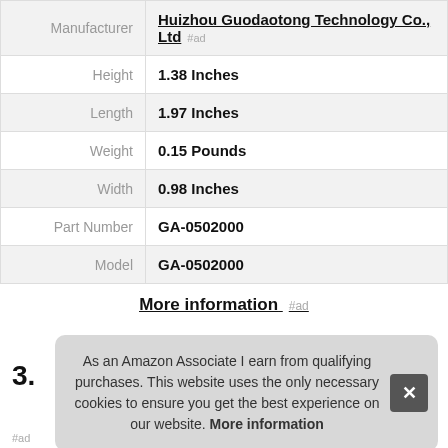| Attribute | Value |
| --- | --- |
| Manufacturer | Huizhou Guodaotong Technology Co., Ltd #ad |
| Height | 1.38 Inches |
| Length | 1.97 Inches |
| Weight | 0.15 Pounds |
| Width | 0.98 Inches |
| Part Number | GA-0502000 |
| Model | GA-0502000 |
More information #ad
3.
As an Amazon Associate I earn from qualifying purchases. This website uses the only necessary cookies to ensure you get the best experience on our website. More information
#ad